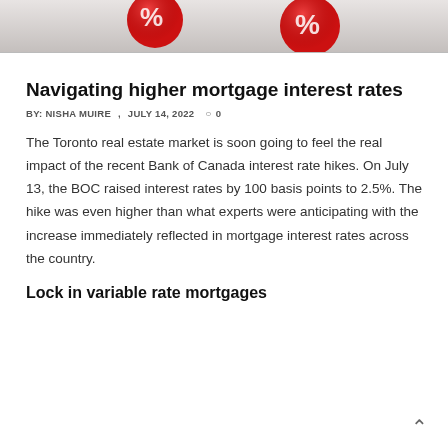[Figure (photo): Photo of red percentage sign balls/spheres against a light background, cropped at top of page]
Navigating higher mortgage interest rates
BY: NISHA MUIRE ,  JULY 14, 2022  ○ 0
The Toronto real estate market is soon going to feel the real impact of the recent Bank of Canada interest rate hikes. On July 13, the BOC raised interest rates by 100 basis points to 2.5%. The hike was even higher than what experts were anticipating with the increase immediately reflected in mortgage interest rates across the country.
Lock in variable rate mortgages